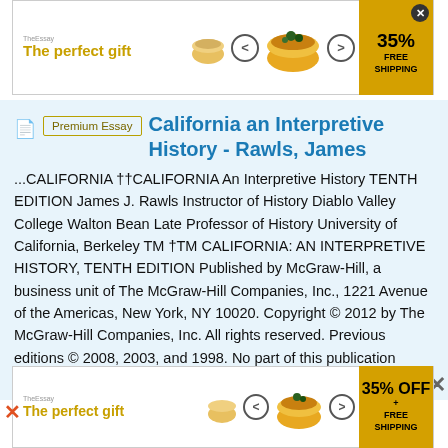[Figure (infographic): Top advertisement banner: 'The perfect gift' with bowl/food imagery, navigation arrows, and '35% FREE SHIPPING' yellow badge with close button]
California an Interpretive History - Rawls, James
...CALIFORNIA ††CALIFORNIA An Interpretive History TENTH EDITION James J. Rawls Instructor of History Diablo Valley College Walton Bean Late Professor of History University of California, Berkeley TM †TM CALIFORNIA: AN INTERPRETIVE HISTORY, TENTH EDITION Published by McGraw-Hill, a business unit of The McGraw-Hill Companies, Inc., 1221 Avenue of the Americas, New York, NY 10020. Copyright © 2012 by The McGraw-Hill Companies, Inc. All rights reserved. Previous editions © 2008, 2003, and 1998. No part of this publication
[Figure (infographic): Bottom advertisement banner: 'The perfect gift' with bowl/food imagery, navigation arrows, and '35% OFF FREE SHIPPING' yellow badge]